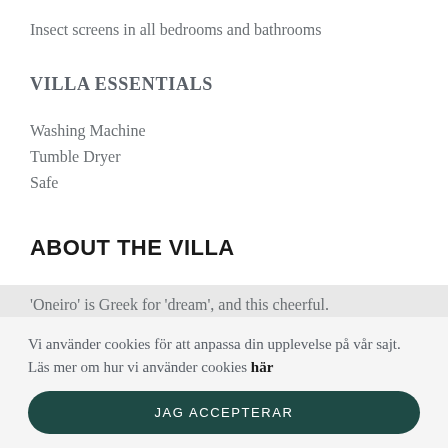Insect screens in all bedrooms and bathrooms
VILLA ESSENTIALS
Washing Machine
Tumble Dryer
Safe
ABOUT THE VILLA
'Oneiro' is Greek for 'dream', and this cheerful.
Vi använder cookies för att anpassa din upplevelse på vår sajt. Läs mer om hur vi använder cookies här
JAG ACCEPTERAR